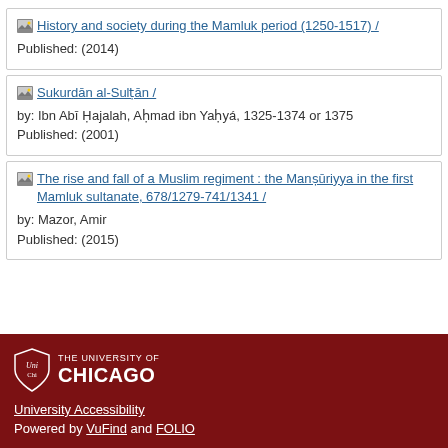History and society during the Mamluk period (1250-1517) / Published: (2014)
Sukurdān al-Sulṭān / by: Ibn Abī Ḥajalah, Aḥmad ibn Yaḥyá, 1325-1374 or 1375 Published: (2001)
The rise and fall of a Muslim regiment : the Manṣūriyya in the first Mamluk sultanate, 678/1279-741/1341 / by: Mazor, Amir Published: (2015)
THE UNIVERSITY OF CHICAGO University Accessibility Powered by VuFind and FOLIO